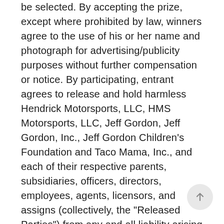be selected. By accepting the prize, except where prohibited by law, winners agree to the use of his or her name and photograph for advertising/publicity purposes without further compensation or notice. By participating, entrant agrees to release and hold harmless Hendrick Motorsports, LLC, HMS Motorsports, LLC, Jeff Gordon, Jeff Gordon, Inc., Jeff Gordon Children's Foundation and Taco Mama, Inc., and each of their respective parents, subsidiaries, officers, directors, employees, agents, licensors, and assigns (collectively, the "Released Parties") from any and all liability arising from participating in the contest and/or acceptance, possession or use/misuse of prize,